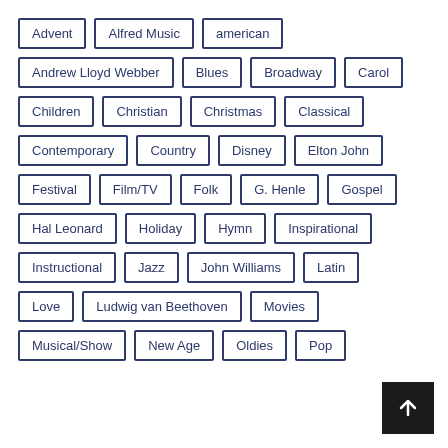Advent
Alfred Music
american
Andrew Lloyd Webber
Blues
Broadway
Carol
Children
Christian
Christmas
Classical
Contemporary
Country
Disney
Elton John
Festival
Film/TV
Folk
G. Henle
Gospel
Hal Leonard
Holiday
Hymn
Inspirational
Instructional
Jazz
John Williams
Latin
Love
Ludwig van Beethoven
Movies
Musical/Show
New Age
Oldies
Pop